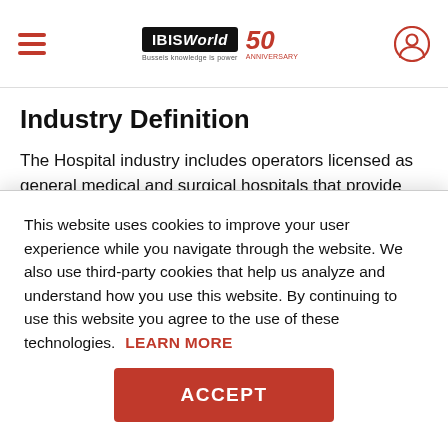IBISWorld 50th Anniversary
Industry Definition
The Hospital industry includes operators licensed as general medical and surgical hospitals that provide surgical and nonsurgical diagnostic and medical treatment to inpatients. Hospitals maintain inpatient beds and usually provide other services, including outpatient, operating room and pharmacy services
This website uses cookies to improve your user experience while you navigate through the website. We also use third-party cookies that help us analyze and understand how you use this website. By continuing to use this website you agree to the use of these technologies.
LEARN MORE
ACCEPT